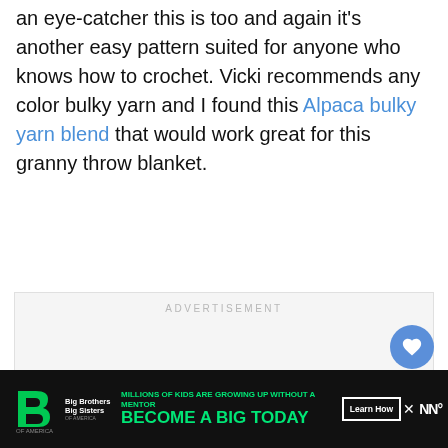an eye-catcher this is too and again it's another easy pattern suited for anyone who knows how to crochet. Vicki recommends any color bulky yarn and I found this Alpaca bulky yarn blend that would work great for this granny throw blanket.
[Figure (other): Advertisement placeholder box with 'ADVERTISEMENT' label in light gray text, light gray background]
[Figure (other): Floating action buttons: blue heart button and white share button on the right side]
[Figure (other): Bottom advertisement banner: black background with Big Brothers Big Sisters logo, green text 'MILLIONS OF KIDS ARE GROWING UP WITHOUT A MENTOR' and 'BECOME A BIG TODAY', Learn How button, WW logo on right]